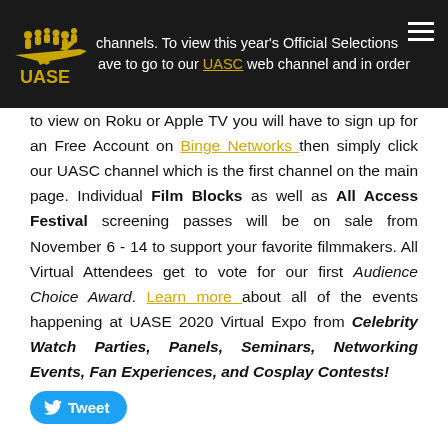channels. To view this year's Official Selections ave to go to our UASC web channel and in order
to view on Roku or Apple TV you will have to sign up for an Free Account on Binge Networks then simply click our UASC channel which is the first channel on the main page. Individual Film Blocks as well as All Access Festival screening passes will be on sale from November 6 - 14 to support your favorite filmmakers. All Virtual Attendees get to vote for our first Audience Choice Award. Learn more about all of the events happening at UASE 2020 Virtual Expo from Celebrity Watch Parties, Panels, Seminars, Networking Events, Fan Experiences, and Cosplay Contests!
[Figure (logo): UASE logo - silhouette of people and airplane with UASE text]